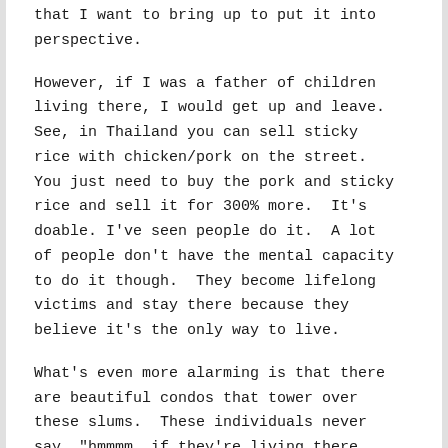that I want to bring up to put it into perspective.
However, if I was a father of children living there, I would get up and leave. See, in Thailand you can sell sticky rice with chicken/pork on the street. You just need to buy the pork and sticky rice and sell it for 300% more. It’s doable. I’ve seen people do it. A lot of people don’t have the mental capacity to do it though. They become lifelong victims and stay there because they believe it’s the only way to live.
What’s even more alarming is that there are beautiful condos that tower over these slums. These individuals never say, “hmmmm, if they’re living there,